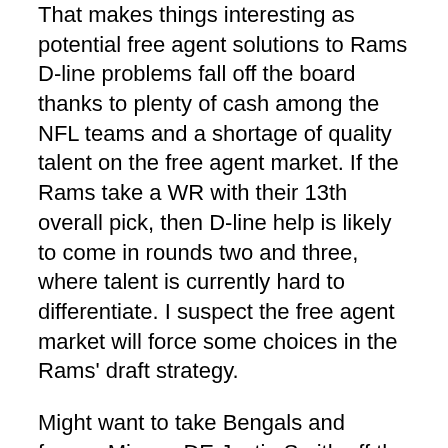That makes things interesting as potential free agent solutions to Rams D-line problems fall off the board thanks to plenty of cash among the NFL teams and a shortage of quality talent on the free agent market. If the Rams take a WR with their 13th overall pick, then D-line help is likely to come in rounds two and three, where talent is currently hard to differentiate. I suspect the free agent market will force some choices in the Rams' draft strategy.
Might want to take Bengals and former Mizzou DE Justin Smith off the list of Rams free agent possibilities. Rumors from Profootballtalk.com have the Bengals slapping him with the franchise tag. How believable is this? Who knows. I seem to recall some disenchantment with the Mizzou product in fan circles, and less than rave reviews. Smith specializes in stopping the run, and doesn't seem the logical fit for a